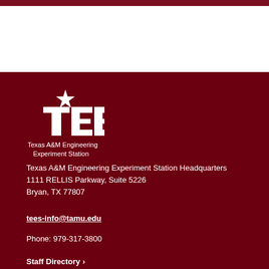[Figure (logo): TEES logo - Texas A&M Engineering Experiment Station logo with star and italic TEES text]
Texas A&M Engineering Experiment Station
Texas A&M Engineering Experiment Station Headquarters
1111 RELLIS Parkway, Suite 5226
Bryan, TX 77807
tees-info@tamu.edu
Phone: 979-317-3800
Staff Directory ›